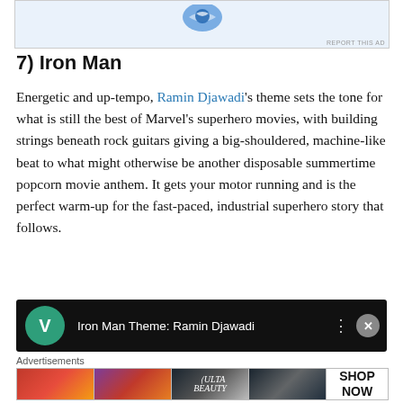[Figure (other): Advertisement banner at top with blue logo/icon on light blue background, with 'REPORT THIS AD' label at bottom right]
7) Iron Man
Energetic and up-tempo, Ramin Djawadi's theme sets the tone for what is still the best of Marvel's superhero movies, with building strings beneath rock guitars giving a big-shouldered, machine-like beat to what might otherwise be another disposable summertime popcorn movie anthem. It gets your motor running and is the perfect warm-up for the fast-paced, industrial superhero story that follows.
[Figure (screenshot): Video player showing Iron Man Theme by Ramin Djawadi, with green circular V icon, video title text, menu dots, and close X button, on dark background]
Advertisements
[Figure (other): Advertisement banner showing beauty/makeup imagery with lips, brushes, eyes, ULTA beauty logo, and SHOP NOW text]